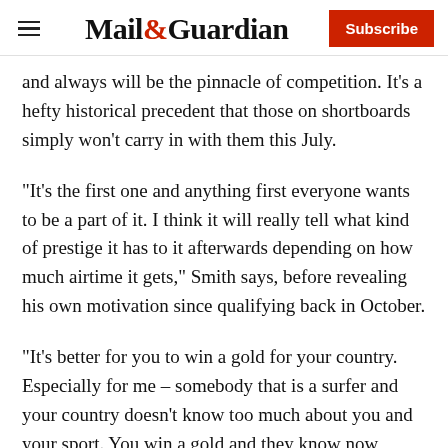Mail&Guardian | Subscribe
and always will be the pinnacle of competition. It’s a hefty historical precedent that those on shortboards simply won’t carry in with them this July.
“It’s the first one and anything first everyone wants to be a part of it. I think it will really tell what kind of prestige it has to it afterwards depending on how much airtime it gets,” Smith says, before revealing his own motivation since qualifying back in October.
“It’s better for you to win a gold for your country. Especially for me – somebody that is a surfer and your country doesn’t know too much about you and your sport. You win a gold and they know now because a